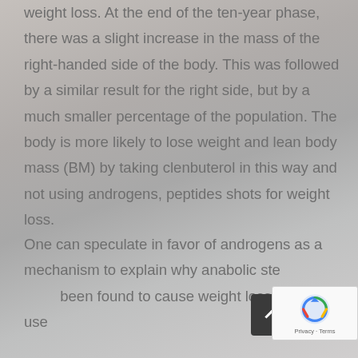weight loss. At the end of the ten-year phase, there was a slight increase in the mass of the right-handed side of the body. This was followed by a similar result for the right side, but by a much smaller percentage of the population. The body is more likely to lose weight and lean body mass (BM) by taking clenbuterol in this way and not using androgens, peptides shots for weight loss.
One can speculate in favor of androgens as a mechanism to explain why anabolic steroids have been found to cause weight loss while the use